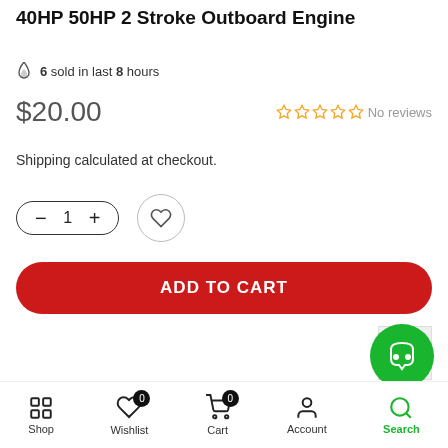40HP 50HP 2 Stroke Outboard Engine
🔥 6 sold in last 8 hours
$20.00  ☆☆☆☆☆ No reviews
Shipping calculated at checkout.
- 1 + ♡
ADD TO CART
Shop  Wishlist (0)  Cart (0)  Account  Search